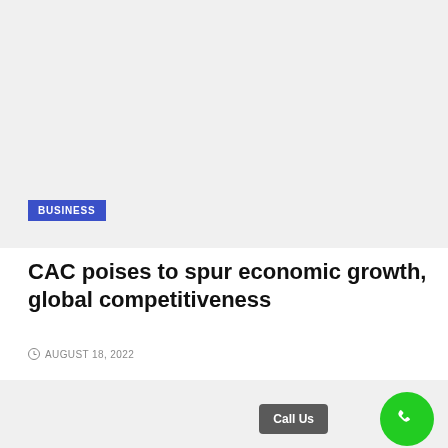[Figure (photo): Large gray placeholder image area at the top of the article page]
BUSINESS
CAC poises to spur economic growth, global competitiveness
AUGUST 18, 2022
[Figure (photo): Gray placeholder image area at the bottom with Call Us button and green phone icon]